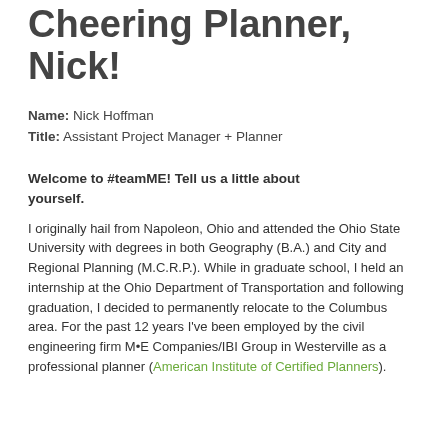Cheering Planner, Nick!
Name: Nick Hoffman
Title: Assistant Project Manager + Planner
Welcome to #teamME! Tell us a little about yourself.
I originally hail from Napoleon, Ohio and attended the Ohio State University with degrees in both Geography (B.A.) and City and Regional Planning (M.C.R.P.). While in graduate school, I held an internship at the Ohio Department of Transportation and following graduation, I decided to permanently relocate to the Columbus area. For the past 12 years I've been employed by the civil engineering firm M•E Companies/IBI Group in Westerville as a professional planner (American Institute of Certified Planners).